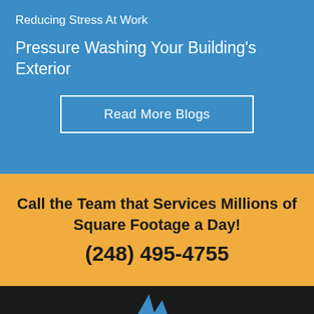Reducing Stress At Work
Pressure Washing Your Building's Exterior
Read More Blogs
Call the Team that Services Millions of Square Footage a Day!
(248) 495-4755
[Figure (logo): Company logo mark - blue diamond/angular shapes on dark background]